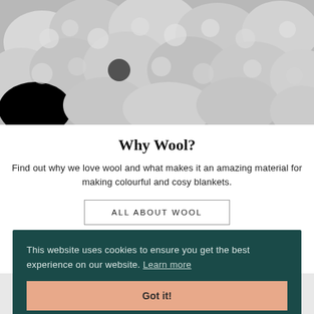[Figure (photo): Black and white photo of a flock of sheep, closely packed together, viewed from above/side angle.]
Why Wool?
Find out why we love wool and what makes it an amazing material for making colourful and cosy blankets.
ALL ABOUT WOOL
This website uses cookies to ensure you get the best experience on our website. Learn more
Got it!